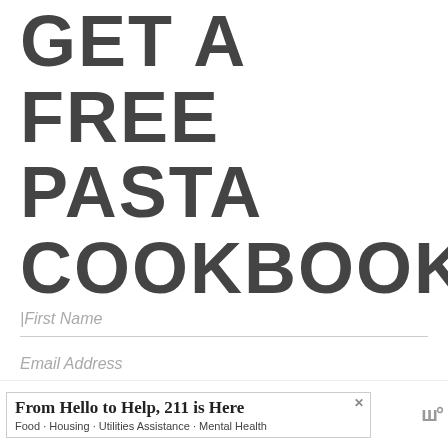GET A FREE PASTA COOKBOOK
First Name
Email Address
SEND ME THE GUIDE
From Hello to Help, 211 is Here
Food · Housing · Utilities Assistance · Mental Health